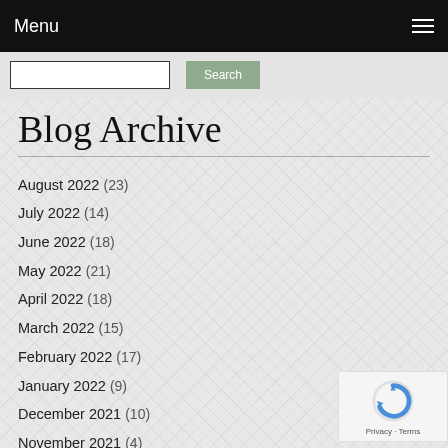Menu
Blog Archive
August 2022 (23)
July 2022 (14)
June 2022 (18)
May 2022 (21)
April 2022 (18)
March 2022 (15)
February 2022 (17)
January 2022 (9)
December 2021 (10)
November 2021 (4)
October 2021 (23)